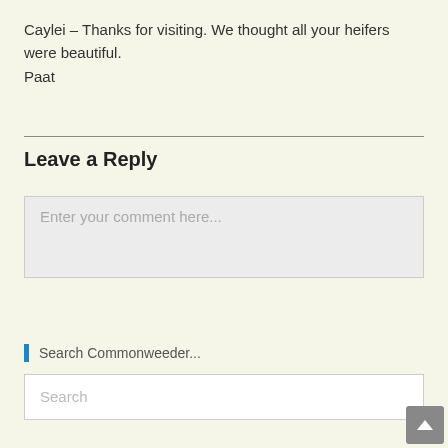Caylei – Thanks for visiting. We thought all your heifers were beautiful.
Paat
Leave a Reply
Enter your comment here...
Search Commonweeder...
Search